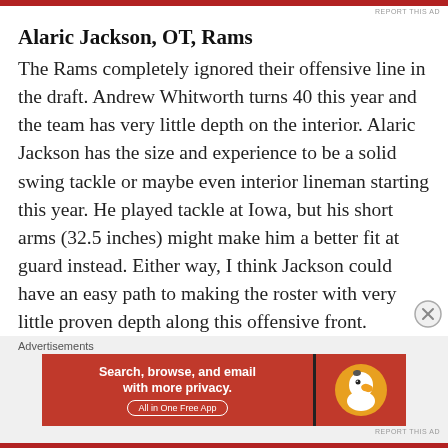REPORT THIS AD
Alaric Jackson, OT, Rams
The Rams completely ignored their offensive line in the draft. Andrew Whitworth turns 40 this year and the team has very little depth on the interior. Alaric Jackson has the size and experience to be a solid swing tackle or maybe even interior lineman starting this year. He played tackle at Iowa, but his short arms (32.5 inches) might make him a better fit at guard instead. Either way, I think Jackson could have an easy path to making the roster with very little proven depth along this offensive front.
Advertisements
[Figure (screenshot): DuckDuckGo advertisement banner: Search, browse, and email with more privacy. All in One Free App]
REPORT THIS AD